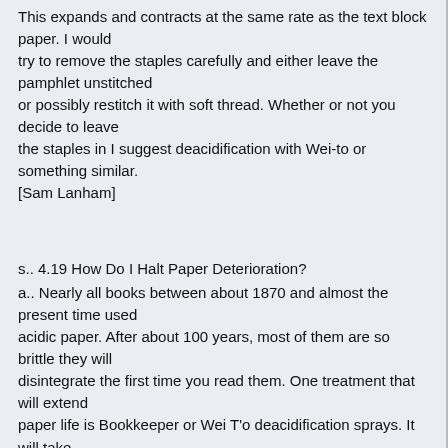This expands and contracts at the same rate as the text block paper. I would try to remove the staples carefully and either leave the pamphlet unstitched or possibly restitch it with soft thread. Whether or not you decide to leave the staples in I suggest deacidification with Wei-to or something similar. [Sam Lanham]
s.. 4.19 How Do I Halt Paper Deterioration?
a.. Nearly all books between about 1870 and almost the present time used acidic paper. After about 100 years, most of them are so brittle they will disintegrate the first time you read them. One treatment that will extend paper life is Bookkeeper or Wei T'o deacidification sprays. It will take about $20 or $30 worth to treat an average book with Wei T'o. Note that this will not restore the strenght of your brittle paper -- it will just slow down the deterioration. Some ink, aspecially some colored ink, will get smeary -- test this before you treat a whole book. That may be more of a problem with Wei T'o than with Bookkeeper -- not sure. [Christopher Mullin]
b.. Low temperatures and humidity are a big help. Don't let the books get *too* dry though -- 20 or 30% is fairly good, and consistency of both